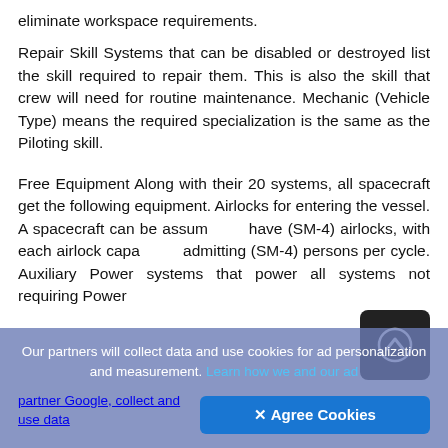eliminate workspace requirements.
Repair Skill Systems that can be disabled or destroyed list the skill required to repair them. This is also the skill that crew will need for routine maintenance. Mechanic (Vehicle Type) means the required specialization is the same as the Piloting skill.
Free Equipment Along with their 20 systems, all spacecraft get the following equipment. Airlocks for entering the vessel. A spacecraft can be assumed to have (SM-4) airlocks, with each airlock capable of admitting (SM-4) persons per cycle. Auxiliary Power systems that power all systems not requiring Power
Our partners will collect data and use cookies for ad personalization and measurement. Learn how we and our ad partner Google, collect and use data